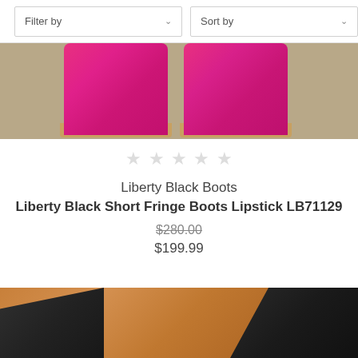[Figure (screenshot): Filter by and Sort by dropdown controls in a horizontal bar]
[Figure (photo): Cropped photo of pink cowboy boots on sandy/concrete ground]
[Figure (other): Five empty star rating icons]
Liberty Black Boots
Liberty Black Short Fringe Boots Lipstick LB71129
$280.00
$199.99
[Figure (photo): Cropped photo of brown and black leather boots from below]